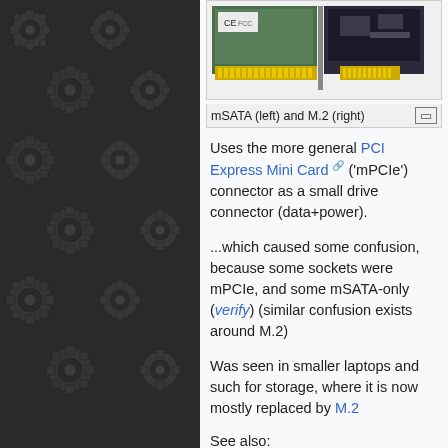[Figure (photo): Photo of mSATA (left) and M.2 (right) storage cards, partially visible at top. mSATA has green PCB with gold connector, M.2 is darker. Background is dark gear/cogwheel pattern on left side of page.]
mSATA (left) and M.2 (right)
Uses the more general PCI Express Mini Card ('mPCIe') connector as a small drive connector (data+power).
...which caused some confusion, because some sockets were mPCIe, and some mSATA-only (verify) (similar confusion exists around M.2)
Was seen in smaller laptops and such for storage, where it is now mostly replaced by M.2
See also: